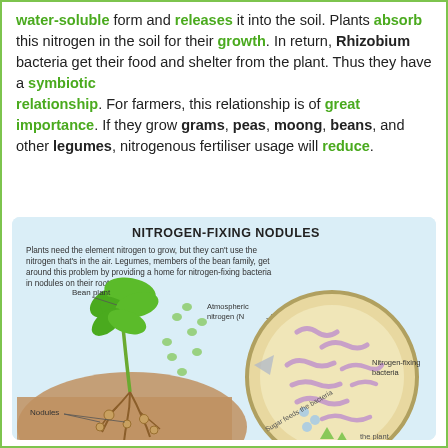water-soluble form and releases it into the soil. Plants absorb this nitrogen in the soil for their growth. In return, Rhizobium bacteria get their food and shelter from the plant. Thus they have a symbiotic relationship. For farmers, this relationship is of great importance. If they grow grams, peas, moong, beans, and other legumes, nitrogenous fertiliser usage will reduce.
[Figure (illustration): Diagram titled 'NITROGEN-FIXING NODULES' showing a bean plant with nodules on roots on the left, atmospheric nitrogen (N2) particles around it, and a large circular cross-section on the right showing nitrogen-fixing bacteria inside a nodule. Labels include 'Bean plant', 'Atmospheric nitrogen (N2)', 'Nodules', 'Nitrogen-fixing bacteria', 'Sugar feeds the bacteria', and 'the plant'.]